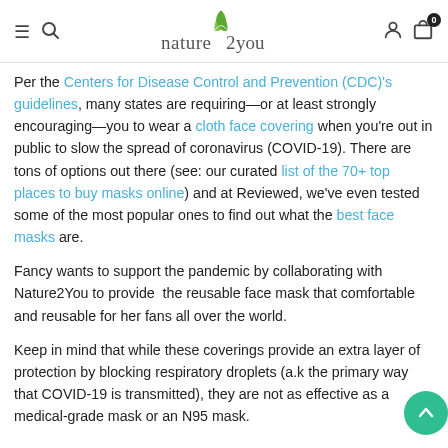nature2you (logo with navigation icons)
Per the Centers for Disease Control and Prevention (CDC)'s guidelines, many states are requiring—or at least strongly encouraging—you to wear a cloth face covering when you're out in public to slow the spread of coronavirus (COVID-19). There are tons of options out there (see: our curated list of the 70+ top places to buy masks online) and at Reviewed, we've even tested some of the most popular ones to find out what the best face masks are.
Fancy wants to support the pandemic by collaborating with Nature2You to provide  the reusable face mask that comfortable and reusable for her fans all over the world.
Keep in mind that while these coverings provide an extra layer of protection by blocking respiratory droplets (a.k the primary way that COVID-19 is transmitted), they are not as effective as a medical-grade mask or an N95 mask.